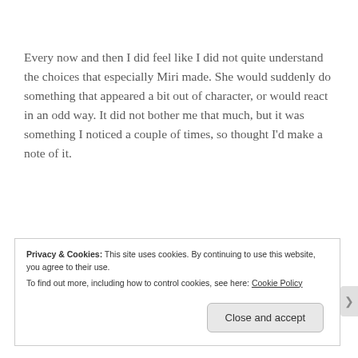Every now and then I did feel like I did not quite understand the choices that especially Miri made. She would suddenly do something that appeared a bit out of character, or would react in an odd way. It did not bother me that much, but it was something I noticed a couple of times, so thought I'd make a note of it.
Privacy & Cookies: This site uses cookies. By continuing to use this website, you agree to their use. To find out more, including how to control cookies, see here: Cookie Policy
Close and accept